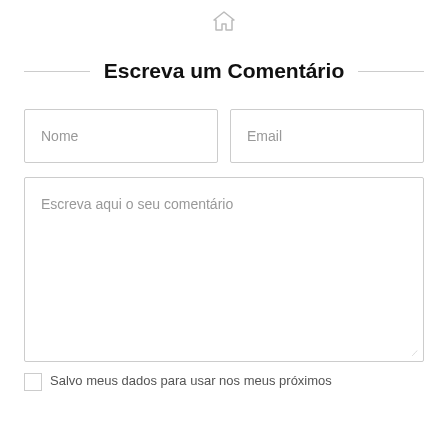[Figure (other): Home/house icon in light gray at top center of page]
Escreva um Comentário
[Figure (other): Text input field with placeholder 'Nome']
[Figure (other): Text input field with placeholder 'Email']
[Figure (other): Large textarea with placeholder 'Escreva aqui o seu comentário']
Salvo meus dados para usar nos meus próximos